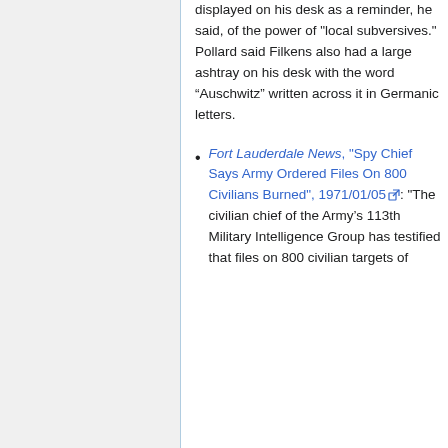displayed on his desk as a reminder, he said, of the power of "local subversives." Pollard said Filkens also had a large ashtray on his desk with the word “Auschwitz” written across it in Germanic letters.
Fort Lauderdale News, "Spy Chief Says Army Ordered Files On 800 Civilians Burned", 1971/01/05: "The civilian chief of the Army’s 113th Military Intelligence Group has testified that files on 800 civilian targets of